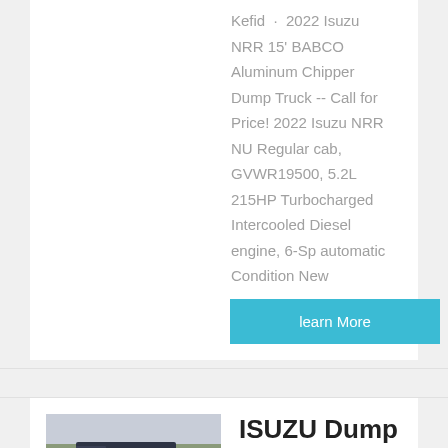Kefid · 2022 Isuzu NRR 15' BABCO Aluminum Chipper Dump Truck -- Call for Price! 2022 Isuzu NRR NU Regular cab, GVWR19500, 5.2L 215HP Turbocharged Intercooled Diesel engine, 6-Sp automatic Condition New
learn More
[Figure (photo): Photo of dark blue ISUZU dump trucks parked, trees in background]
ISUZU Dump Trucks For Sale - 90 Listings | ...
2022 Isuzu NRR Crew Cab.